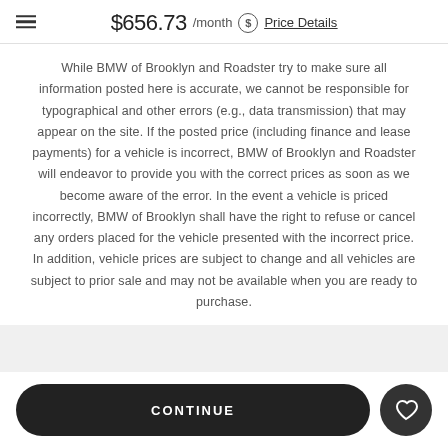$656.73 /month Price Details
While BMW of Brooklyn and Roadster try to make sure all information posted here is accurate, we cannot be responsible for typographical and other errors (e.g., data transmission) that may appear on the site. If the posted price (including finance and lease payments) for a vehicle is incorrect, BMW of Brooklyn and Roadster will endeavor to provide you with the correct prices as soon as we become aware of the error. In the event a vehicle is priced incorrectly, BMW of Brooklyn shall have the right to refuse or cancel any orders placed for the vehicle presented with the incorrect price. In addition, vehicle prices are subject to change and all vehicles are subject to prior sale and may not be available when you are ready to purchase.
CONTINUE